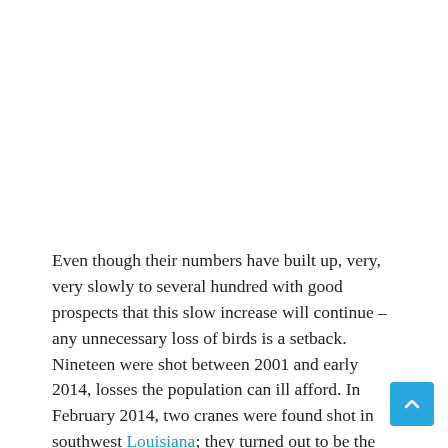[Figure (photo): Image placeholder at the top of the page (white/blank space representing a photo)]
Even though their numbers have built up, very, very slowly to several hundred with good prospects that this slow increase will continue – any unnecessary loss of birds is a setback. Nineteen were shot between 2001 and early 2014, losses the population can ill afford. In February 2014, two cranes were found shot in southwest Louisiana; they turned out to be the oldest pair among a newly reintroduced Louisiana population. The birds, which had been tagged and were monitored by Louisiana officials, were expected to produce a chick in a few years' time. That